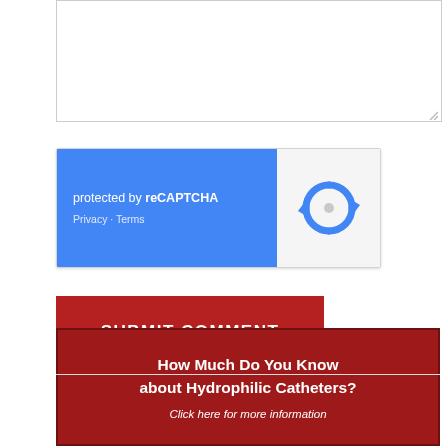[Figure (screenshot): Textarea input box with resize handle in bottom-right corner]
[Figure (screenshot): reCAPTCHA widget with blue left panel showing 'protected by reCAPTCHA' and 'Privacy · Terms', and grey right panel with reCAPTCHA logo]
SUBMIT COMMENT
How Much Do You Know about Hydrophilic Catheters?
Click here for more information
Recent  Popular  Categories
[Figure (photo): Three people around a pool table, with two older men and one younger person, with 11Medical logo watermark]
Uncoated vs. Hydrophilic Catheters: What's the Difference?
posted at Aug 4, 2022